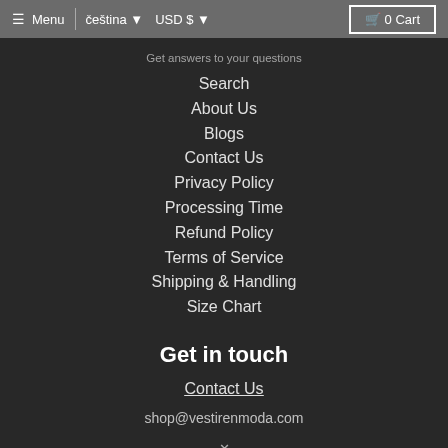≡ Menu | čeština ▼ USD $ ▼  🛒 0 Cart
Get answers to your questions
Search
About Us
Blogs
Contact Us
Privacy Policy
Processing Time
Refund Policy
Terms of Service
Shipping & Handling
Size Chart
Get in touch
Contact Us
shop@vestirenmoda.com